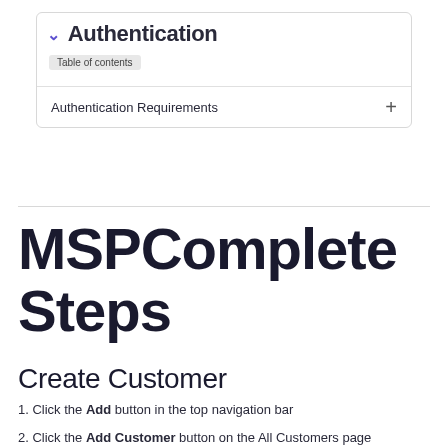[Figure (screenshot): Table of contents widget showing 'Authentication' heading with a blue chevron, 'Table of contents' label badge, and 'Authentication Requirements' row with a plus icon]
MSPComplete Steps
Create Customer
1. Click the Add button in the top navigation bar
2. Click the Add Customer button on the All Customers page